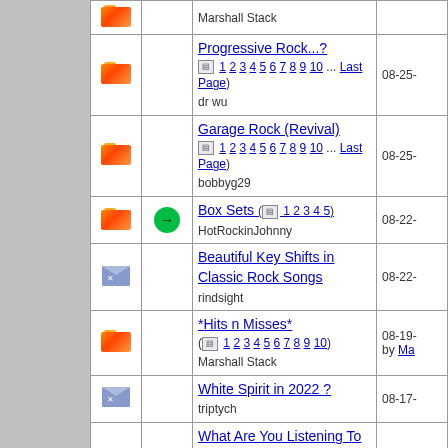| icon | arrow | topic | date |
| --- | --- | --- | --- |
| folder |  | Progressive Rock...?
( 1 2 3 4 5 6 7 8 9 10 ... Last Page)
dr wu | 08-25- |
| folder |  | Garage Rock (Revival)
( 1 2 3 4 5 6 7 8 9 10 ... Last Page)
bobbyg29 | 08-25- |
| folder | → | Box Sets ( 1 2 3 4 5)
HotRockinJohnny | 08-22- |
| envelope |  | Beautiful Key Shifts in Classic Rock Songs
rindsight | 08-22- |
| folder |  | *Hits n Misses*
( 1 2 3 4 5 6 7 8 9 10)
Marshall Stack | 08-19-
by Ma |
| envelope |  | White Spirit in 2022 ?
triptych | 08-17- |
| folder |  | What Are You Listening To (No Videos.)
( 1 2 3 4 5 6 7 8 9 10 ... Last Page)
Marshall Stack | 08-17-
by Ma |
| folder |  | °What's On My Racks°
( 1 2 3 4 5 6 7 8)
Marshall Stack | 08-17-
by Ma |
| folder |  | Dedicate a song to someone | 08-14- |